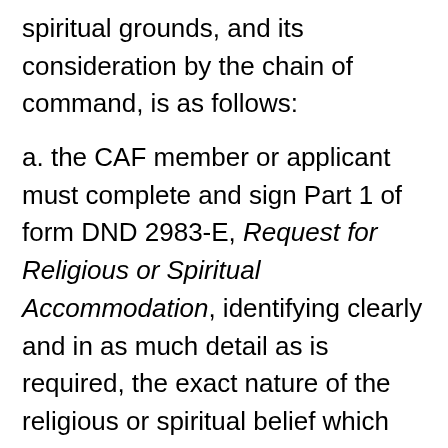spiritual grounds, and its consideration by the chain of command, is as follows:
a. the CAF member or applicant must complete and sign Part 1 of form DND 2983-E, Request for Religious or Spiritual Accommodation, identifying clearly and in as much detail as is required, the exact nature of the religious or spiritual belief which requires an accommodation, and submit the form to:
i. in the case of a CAF member, their CO through their chain of command, or